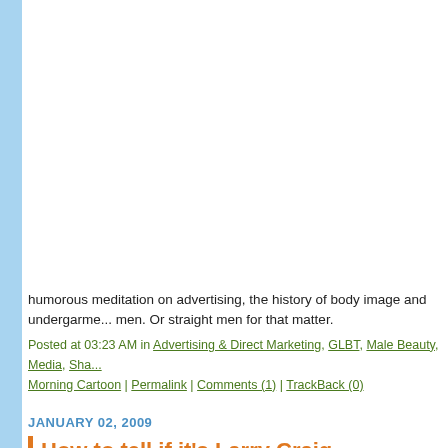humorous meditation on advertising, the history of body image and undergarme... men. Or straight men for that matter.
Posted at 03:23 AM in Advertising & Direct Marketing, GLBT, Male Beauty, Media, Sha... Morning Cartoon | Permalink | Comments (1) | TrackBack (0)
JANUARY 02, 2009
How to tell if it's Larry Craig...
[Figure (photo): Black and white photograph of bathroom stall doors with text 'THEY'RE JUST WAITING TO BE DISCOVERED.' visible on one panel. A portion of a person is visible on the right side.]